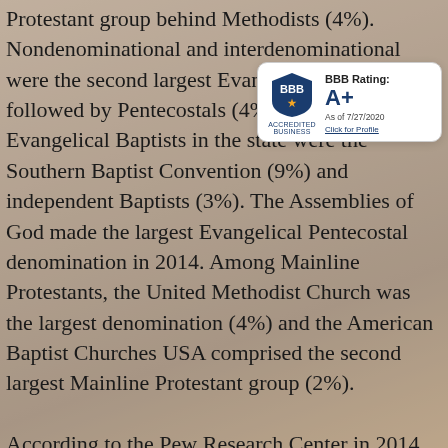Protestant group behind Methodists (4%). Nondenominational and interdenominational were the second largest Evangelical group (7%) followed by Pentecostals (4%). The largest Evangelical Baptists in the state were the Southern Baptist Convention (9%) and independent Baptists (3%). The Assemblies of God made the largest Evangelical Pentecostal denomination in 2014. Among Mainline Protestants, the United Methodist Church was the largest denomination (4%) and the American Baptist Churches USA comprised the second largest Mainline Protestant group (2%).
[Figure (other): BBB Accredited Business badge showing BBB Rating: A+ as of 7/27/2020 with Click for Profile link]
According to the Pew Research Center in 2014, the largest historically African American Christian denominations were the National Baptist Convention (USA) and the Church of God in Christ. Black Methodists and other Christians made up less than 1 percent each of the Christian demographie. Othe